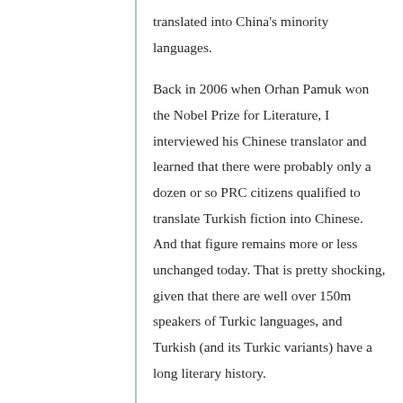translated into China's minority languages.
Back in 2006 when Orhan Pamuk won the Nobel Prize for Literature, I interviewed his Chinese translator and learned that there were probably only a dozen or so PRC citizens qualified to translate Turkish fiction into Chinese. And that figure remains more or less unchanged today. That is pretty shocking, given that there are well over 150m speakers of Turkic languages, and Turkish (and its Turkic variants) have a long literary history.